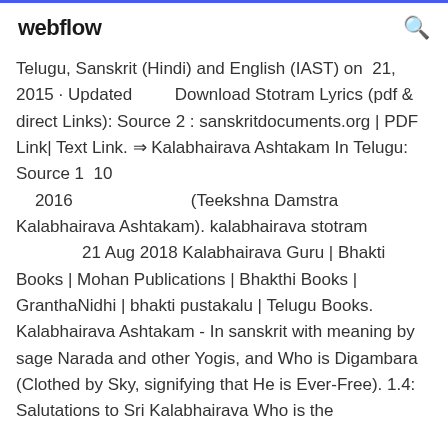webflow
Telugu, Sanskrit (Hindi) and English (IAST) on 21, 2015 · Updated Download Stotram Lyrics (pdf & direct Links): Source 2 : sanskritdocuments.org | PDF Link| Text Link. ⇒ Kalabhairava Ashtakam In Telugu: Source 1  10   2016                           (Teekshna Damstra Kalabhairava Ashtakam). kalabhairava stotram                21 Aug 2018 Kalabhairava Guru | Bhakti Books | Mohan Publications | Bhakthi Books | GranthaNidhi | bhakti pustakalu | Telugu Books. Kalabhairava Ashtakam - In sanskrit with meaning by sage Narada and other Yogis, and Who is Digambara (Clothed by Sky, signifying that He is Ever-Free). 1.4: Salutations to Sri Kalabhairava Who is the